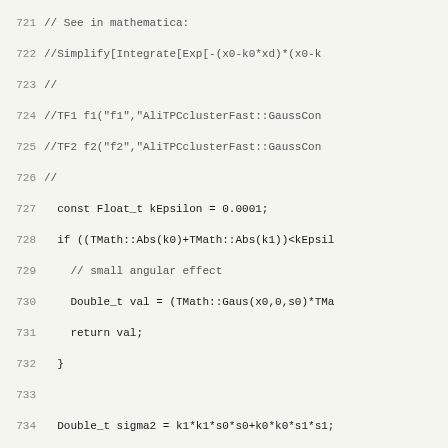Source code listing, lines 721-753, C++ code for AliTPCclusterFast::GaussConvolution and related functions